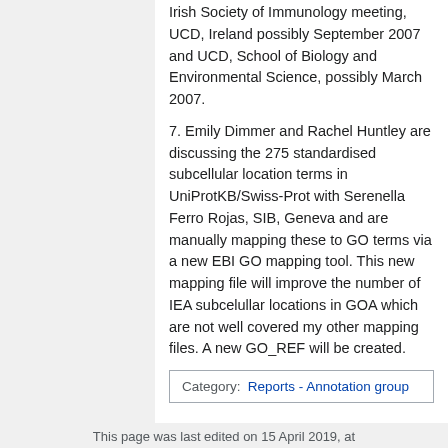Irish Society of Immunology meeting, UCD, Ireland possibly September 2007 and UCD, School of Biology and Environmental Science, possibly March 2007.
7. Emily Dimmer and Rachel Huntley are discussing the 275 standardised subcellular location terms in UniProtKB/Swiss-Prot with Serenella Ferro Rojas, SIB, Geneva and are manually mapping these to GO terms via a new EBI GO mapping tool. This new mapping file will improve the number of IEA subcelullar locations in GOA which are not well covered my other mapping files. A new GO_REF will be created.
Category:  Reports - Annotation group
This page was last edited on 15 April 2019, at